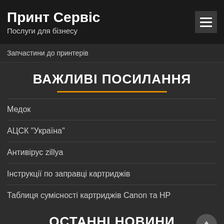Принт Сервіс
Послуги для бізнесу
Запчастини до принтерів
ВАЖЛИВІ ПОСИЛАННЯ
Медок
АЦСК "Україна"
Антивірус zillya
Інструкції по заправці картриджів
Таблиця сумісності картриджів Canon та HP
ОСТАННІ НОВИНИ